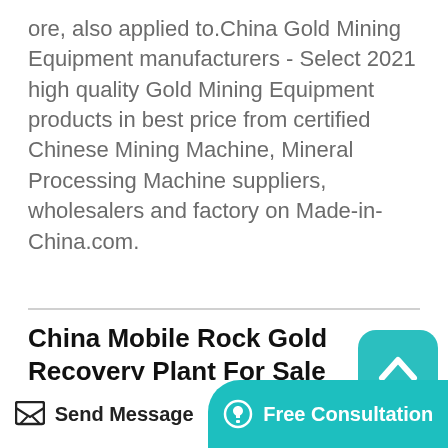ore, also applied to.China Gold Mining Equipment manufacturers - Select 2021 high quality Gold Mining Equipment products in best price from certified Chinese Mining Machine, Mineral Processing Machine suppliers, wholesalers and factory on Made-in-China.com.
China Mobile Rock Gold Recovery Plant For Sale
Dec 09, 2021 Alluvial gold processing plant 90 + Gold Recovery Ratio Hengcheng offers complete project solutions for Alluvial Gold Processing Plant. We are one of the leading project suppliers for Alluvial Gold Wash Plant Equipment and we work closely with our customers to fulfill their specific needs for
[Figure (other): Scroll-to-top button with upward chevron icon on teal rounded rectangle background]
Send Message   Free Consultation